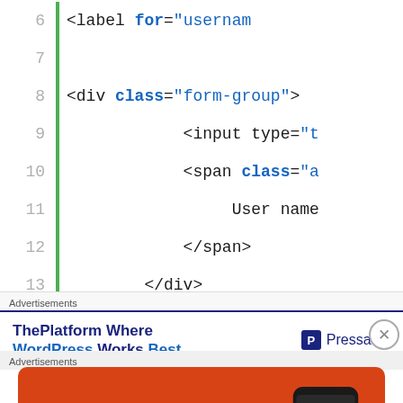[Figure (screenshot): Code editor screenshot showing HTML lines 6-19 with syntax highlighting. Line 6: <label for="usernam..., Line 7: blank, Line 8: <div class="form-group">, Line 9: <input type="t..., Line 10: <span class="a..., Line 11: User name ..., Line 12: </span>, Line 13: </div>, Line 14: blank, Line 15: </form>, Line 16: blank, Line 17: </div>, Line 18: blank, Line 19: </div>]
Advertisements
[Figure (infographic): Advertisement banner: ThePlatform Where WordPress Works Best — Pressable logo]
Advertisements
[Figure (infographic): DuckDuckGo advertisement: Search, browse, and email with more privacy. All in One Free App. Shows phone with DuckDuckGo logo.]